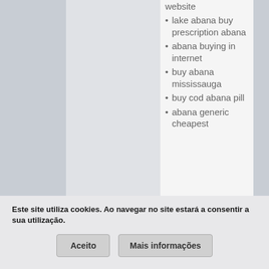website
lake abana buy prescription abana
abana buying in internet
buy abana mississauga
buy cod abana pill
abana generic cheapest
Este site utiliza cookies. Ao navegar no site estará a consentir a sua utilização.
Aceito
Mais informações